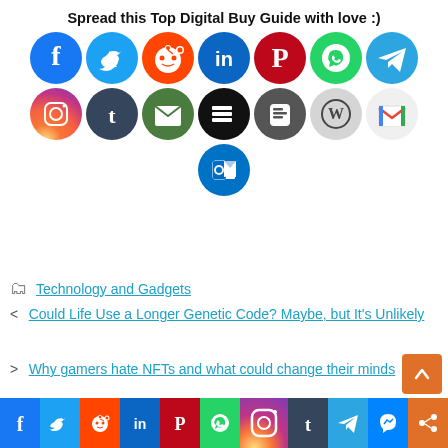Spread this Top Digital Buy Guide with love :)
[Figure (infographic): Two rows of social media share icons (Facebook, Twitter, Reddit, LinkedIn, Pinterest, WhatsApp, Telegram, Instagram, Tumblr, Email, Buffer/Stack, Blogger, WordPress, Gmail) and a third row with Outlook icon]
Technology and Gadgets
Could Life Use a Longer Genetic Code? Maybe, but It's Unlikely
Why gamers hate NFTs and what could change their minds
[Figure (infographic): Bottom bar with social media icons: Facebook (blue), Twitter (cyan), Reddit (orange), LinkedIn (blue), Pinterest (red), WhatsApp (green), Instagram (purple/gradient), Tumblr (dark blue), Telegram (blue), Messenger (blue), Share (orange)]